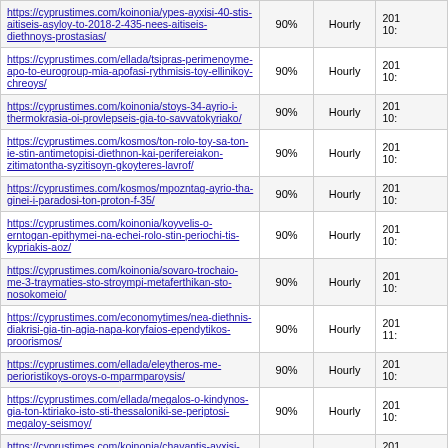| URL | Priority | Change Frequency | Last Modified |
| --- | --- | --- | --- |
| https://cyprustimes.com/koinonia/ypes-ayxisi-40-stis-aitiseis-asyloy-to-2018-2-435-nees-aitiseis-diethnoys-prostasias/ | 90% | Hourly | 201 10: |
| https://cyprustimes.com/ellada/tsipras-perimenoyme-apo-to-eurogroup-mia-apofasi-rythmisis-toy-ellinikoy-chreoys/ | 90% | Hourly | 201 10: |
| https://cyprustimes.com/koinonia/stoys-34-ayrio-i-thermokrasia-oi-provlepseis-gia-to-savvatokyriako/ | 90% | Hourly | 201 10: |
| https://cyprustimes.com/kosmos/ton-rolo-toy-sa-ton-ie-stin-antimetopisi-diethnon-kai-perifereiakon-zitimatontha-syzitisoyn-gkoyteres-lavrof/ | 90% | Hourly | 201 10: |
| https://cyprustimes.com/kosmos/mpozntag-ayrio-tha-ginei-i-paradosi-ton-proton-f-35/ | 90% | Hourly | 201 10: |
| https://cyprustimes.com/koinonia/koyvelis-o-erntogan-epithymei-na-echei-rolo-stin-periochi-tis-kypriakis-aoz/ | 90% | Hourly | 201 10: |
| https://cyprustimes.com/koinonia/sovaro-trochaio-me-3-traymaties-sto-stroympi-metaferthikan-sto-nosokomeio/ | 90% | Hourly | 201 10: |
| https://cyprustimes.com/economytimes/nea-diethnis-diakrisi-gia-tin-agia-napa-koryfaios-ependytikos-proorismos/ | 90% | Hourly | 201 11: |
| https://cyprustimes.com/ellada/eleytheros-me-perioristikoys-oroys-o-mparmparoysis/ | 90% | Hourly | 201 10: |
| https://cyprustimes.com/ellada/megalos-o-kindynos-gia-ton-ktiriako-isto-sti-thessaloniki-se-periptosi-megaloy-seismoy/ | 90% | Hourly | 201 10: |
| https://cyprustimes.com/koinonia/chavantis-ayxisi-sta-narkotika-sta-katechomena/ | 90% | Hourly | 201 10: |